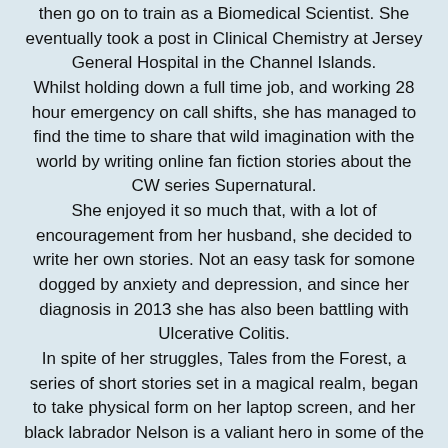then go on to train as a Biomedical Scientist. She eventually took a post in Clinical Chemistry at Jersey General Hospital in the Channel Islands.
Whilst holding down a full time job, and working 28 hour emergency on call shifts, she has managed to find the time to share that wild imagination with the world by writing online fan fiction stories about the CW series Supernatural.
She enjoyed it so much that, with a lot of encouragement from her husband, she decided to write her own stories. Not an easy task for somone dogged by anxiety and depression, and since her diagnosis in 2013 she has also been battling with Ulcerative Colitis.
In spite of her struggles, Tales from the Forest, a series of short stories set in a magical realm, began to take physical form on her laptop screen, and her black labrador Nelson is a valiant hero in some of the stories. As an avid animal lover, she has vowed that all proceeds from the sale of this book series will help to set up a forever home sanctuary for stray,